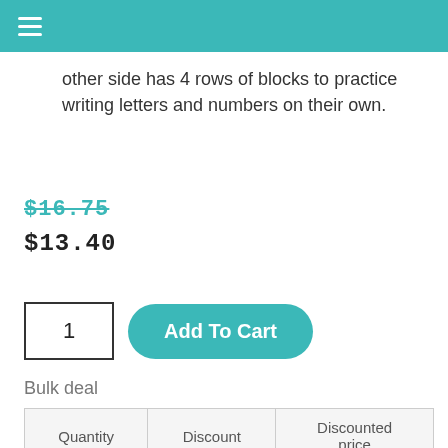other side has 4 rows of blocks to practice writing letters and numbers on their own.
$16.75
$13.40
Bulk deal
| Quantity | Discount | Discounted price |
| --- | --- | --- |
| 1 - 5 | 20% | $13.40 |